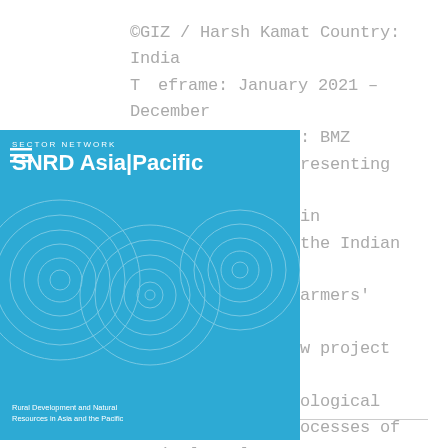©GIZ / Harsh Kamat Country: India Timeframe: January 2021 – December commissioning Agency: BMZ lume: 7.5 Mio € Presenting funded by BMZ and ted by GIZ India in partnership with the Indian Ministry of Agriculture and Farmers' Welfare (MoA&FW), this new project aims to strengthen agroecological transformation processes of agricultural...
[Figure (logo): SNRD Asia/Pacific Sector Network logo badge in blue with circular decorative pattern and text 'Rural Development and Natural Resources in Asia and the Pacific']